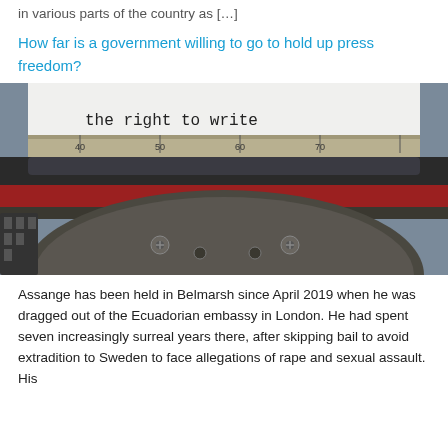in various parts of the country as […]
How far is a government willing to go to hold up press freedom?
[Figure (photo): Close-up photograph of a vintage typewriter with paper showing the text 'the right to write' typed on it. The typewriter mechanism, platen, and red/black ribbon are visible.]
Assange has been held in Belmarsh since April 2019 when he was dragged out of the Ecuadorian embassy in London. He had spent seven increasingly surreal years there, after skipping bail to avoid extradition to Sweden to face allegations of rape and sexual assault. His